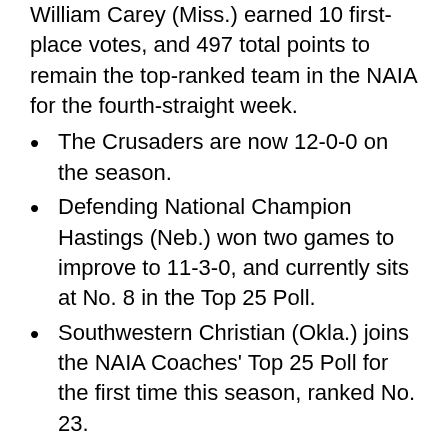William Carey (Miss.) earned 10 first-place votes, and 497 total points to remain the top-ranked team in the NAIA for the fourth-straight week.
The Crusaders are now 12-0-0 on the season.
Defending National Champion Hastings (Neb.) won two games to improve to 11-3-0, and currently sits at No. 8 in the Top 25 Poll.
Southwestern Christian (Okla.) joins the NAIA Coaches' Top 25 Poll for the first time this season, ranked No. 23.
No. 3 Rio Grande (Ohio) holds the record for the most No. 1 rankings of all time with 57.
Lindsey Wilson (Ky.) holds the record for the longest consecutively-ranked active school at 113-straight polls, dating back to the first installment of the Top 25 Poll in 2007. Rio Grande (Ohio) is second with 104-straight polls.